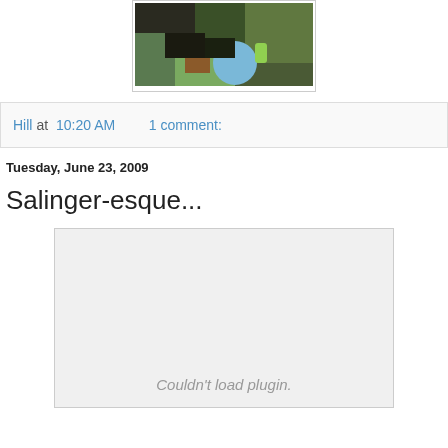[Figure (photo): A photograph of a baby/child outdoors, partially visible. Shows hands and a blue spherical object with green elements.]
Hill at 10:20 AM    1 comment:
Tuesday, June 23, 2009
Salinger-esque...
Couldn't load plugin.